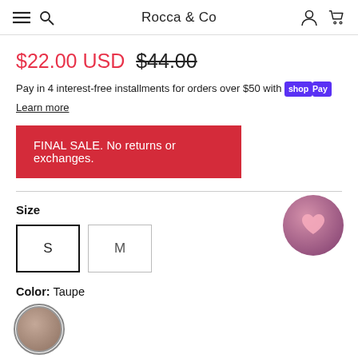Rocca & Co
$22.00 USD  $44.00
Pay in 4 interest-free installments for orders over $50 with shopPay
Learn more
FINAL SALE. No returns or exchanges.
Size
S
M
Color: Taupe